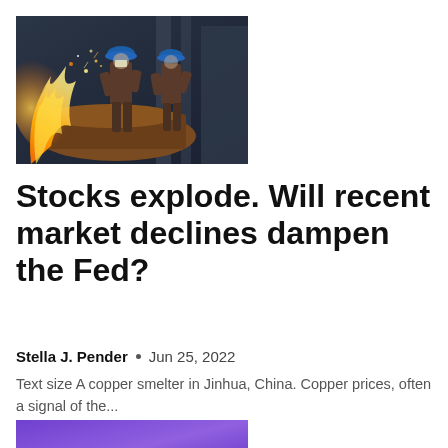[Figure (photo): Two workers in blue hard hats and dark coveralls at a copper smelter in Jinhua, China, with bright fire/sparks visible on the left side of the image]
Stocks explode. Will recent market declines dampen the Fed?
Stella J. Pender  •  Jun 25, 2022
Text size A copper smelter in Jinhua, China. Copper prices, often a signal of the...
[Figure (photo): Partial image with purple/violet gradient background, cropped at bottom of page]